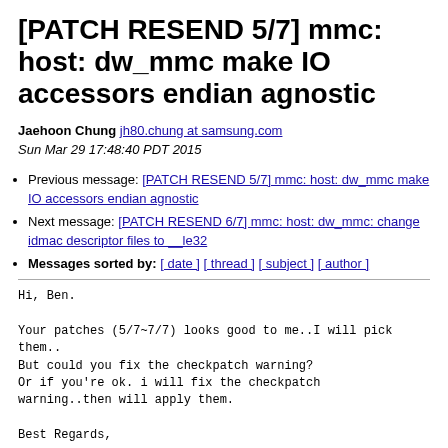[PATCH RESEND 5/7] mmc: host: dw_mmc make IO accessors endian agnostic
Jaehoon Chung jh80.chung at samsung.com
Sun Mar 29 17:48:40 PDT 2015
Previous message: [PATCH RESEND 5/7] mmc: host: dw_mmc make IO accessors endian agnostic
Next message: [PATCH RESEND 6/7] mmc: host: dw_mmc: change idmac descriptor files to __le32
Messages sorted by: [ date ] [ thread ] [ subject ] [ author ]
Hi, Ben.

Your patches (5/7~7/7) looks good to me..I will pick
them..
But could you fix the checkpatch warning?
Or if you're ok. i will fix the checkpatch
warning..then will apply them.

Best Regards,